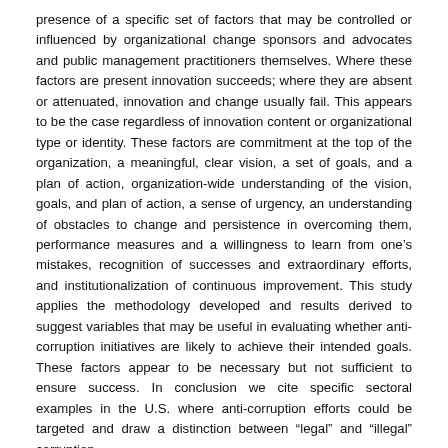presence of a specific set of factors that may be controlled or influenced by organizational change sponsors and advocates and public management practitioners themselves. Where these factors are present innovation succeeds; where they are absent or attenuated, innovation and change usually fail. This appears to be the case regardless of innovation content or organizational type or identity. These factors are commitment at the top of the organization, a meaningful, clear vision, a set of goals, and a plan of action, organization-wide understanding of the vision, goals, and plan of action, a sense of urgency, an understanding of obstacles to change and persistence in overcoming them, performance measures and a willingness to learn from one's mistakes, recognition of successes and extraordinary efforts, and institutionalization of continuous improvement. This study applies the methodology developed and results derived to suggest variables that may be useful in evaluating whether anti-corruption initiatives are likely to achieve their intended goals. These factors appear to be necessary but not sufficient to ensure success. In conclusion we cite specific sectoral examples in the U.S. where anti-corruption efforts could be targeted and draw a distinction between "legal" and "illegal" corruption.
Description